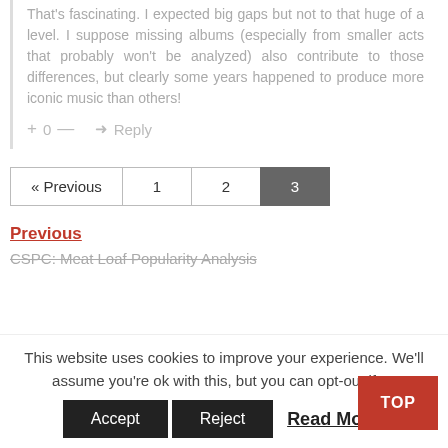That's fascinating. I expected big gaps but not to that huge of a level. I suppose missing albums (especially from smaller acts that probably won't be analyzed) also contribute to those differences, but clearly some years happened to produce more iconic music than others!
+ 0 — ➜ Reply
« Previous 1 2 3
Previous
CSPC: Meat Loaf Popularity Analysis
This website uses cookies to improve your experience. We'll assume you're ok with this, but you can opt-out if yo
Accept   Reject   Read More